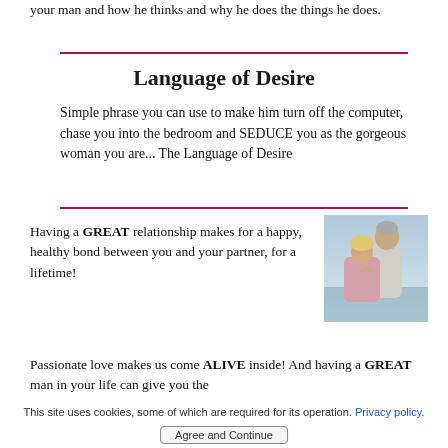your man and how he thinks and why he does the things he does.
Language of Desire
Simple phrase you can use to make him turn off the computer, chase you into the bedroom and SEDUCE you as the gorgeous woman you are... The Language of Desire
Having a GREAT relationship makes for a happy, healthy bond between you and your partner, for a lifetime!
[Figure (photo): An older couple, man and woman, embracing outdoors.]
Passionate love makes us come ALIVE inside! And having a GREAT man in your life can give you the
This site uses cookies, some of which are required for its operation. Privacy policy
Agree and Continue